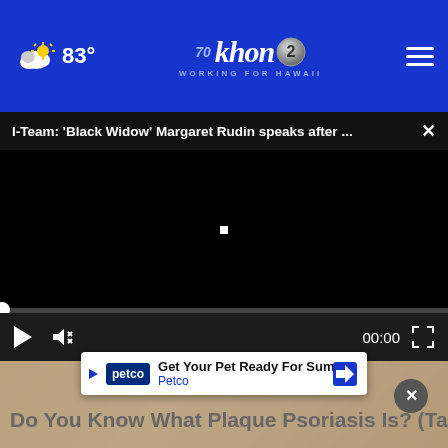83° khon2 WORKING FOR HAWAII — 70 Years
I-Team: 'Black Widow' Margaret Rudin speaks after ... ×
[Figure (screenshot): Black video player area with loading dot in center, progress bar at bottom, playback controls (play button, mute, time 00:00, fullscreen)]
[Figure (photo): Blurred/soft background thumbnail image beneath video player]
[Figure (infographic): Petco advertisement banner: 'Get Your Pet Ready For Summe / Petco' with petco logo and directional arrow icon]
Do You Know What Plaque Psoriasis Is? (Take a